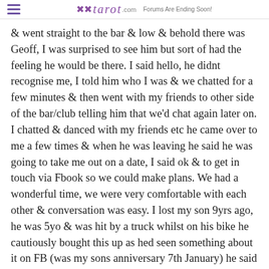tarot.com  Forums Are Ending Soon!
& went straight to the bar & low & behold there was Geoff, I was surprised to see him but sort of had the feeling he would be there. I said hello, he didnt recognise me, I told him who I was & we chatted for a few minutes & then went with my friends to other side of the bar/club telling him that we'd chat again later on. I chatted & danced with my friends etc he came over to me a few times & when he was leaving he said he was going to take me out on a date, I said ok & to get in touch via Fbook so we could make plans. We had a wonderful time, we were very comfortable with each other & conversation was easy. I lost my son 9yrs ago, he was 5yo & was hit by a truck whilst on his bike he cautiously bought this up as hed seen something about it on FB (was my sons anniversary 7th January) he said that his Nephew 10yo had died the same way 9yrs ago in a suburb near mine. I was blown away, how strange that after 3yrs just chatting on line every now &